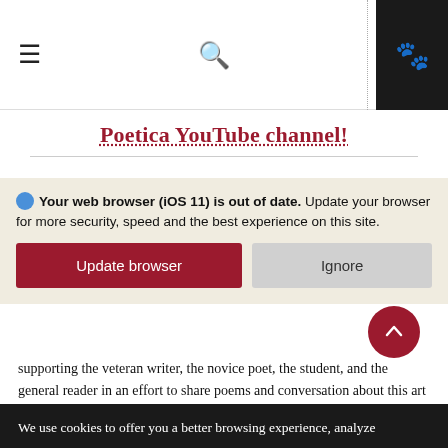Navigation header with hamburger menu, search icon, and paw icon
Poetica YouTube channel!
Your web browser (iOS 11) is out of date. Update your browser for more security, speed and the best experience on this site.
supporting the veteran writer, the novice poet, the student, and the general reader in an effort to share poems and conversation about this art form.
Chapman University's poetry project melds the ideas of tabula rasa (or the blank slate) and ars poetica (or the art of poetry) to make a poetry table around which we, far, can gather. There exists much poetry already in the d,
We use cookies to offer you a better browsing experience, analyze